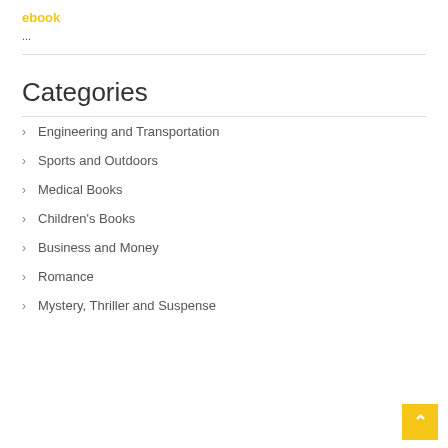ebook
...
Categories
Engineering and Transportation
Sports and Outdoors
Medical Books
Children's Books
Business and Money
Romance
Mystery, Thriller and Suspense